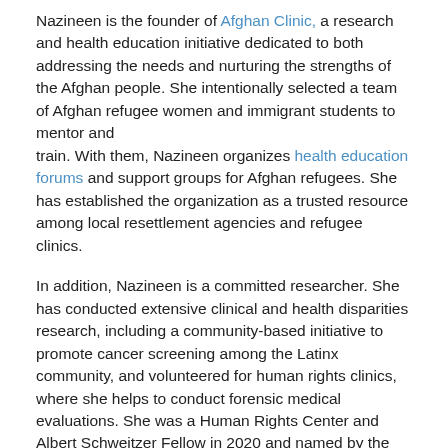Nazineen is the founder of Afghan Clinic, a research and health education initiative dedicated to both addressing the needs and nurturing the strengths of the Afghan people. She intentionally selected a team of Afghan refugee women and immigrant students to mentor and train. With them, Nazineen organizes health education forums and support groups for Afghan refugees. She has established the organization as a trusted resource among local resettlement agencies and refugee clinics.
In addition, Nazineen is a committed researcher. She has conducted extensive clinical and health disparities research, including a community-based initiative to promote cancer screening among the Latinx community, and volunteered for human rights clinics, where she helps to conduct forensic medical evaluations. She was a Human Rights Center and Albert Schweitzer Fellow in 2020 and named by the Journal of Public Health Management & Practice a “Student Who Rocked Public Health in 2021.”